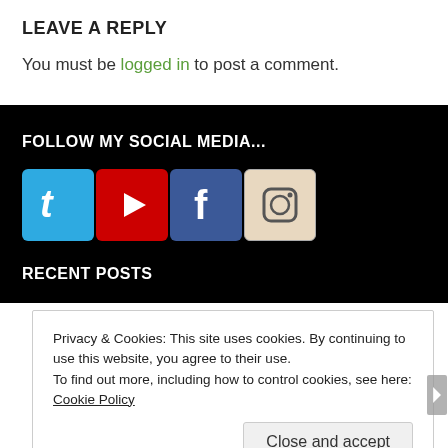LEAVE A REPLY
You must be logged in to post a comment.
FOLLOW MY SOCIAL MEDIA...
[Figure (other): Four social media icons in a row: Twitter (blue), YouTube (red), Facebook (blue), Instagram (camera icon with beige/white background)]
RECENT POSTS
Privacy & Cookies: This site uses cookies. By continuing to use this website, you agree to their use. To find out more, including how to control cookies, see here: Cookie Policy
Close and accept